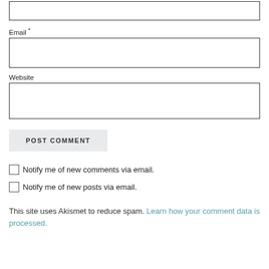[Figure (screenshot): Top portion of a web comment form showing a text input box (partially visible at top)]
Email *
[Figure (screenshot): Email input field (empty text box)]
Website
[Figure (screenshot): Website input field (empty text box)]
POST COMMENT
Notify me of new comments via email.
Notify me of new posts via email.
This site uses Akismet to reduce spam. Learn how your comment data is processed.